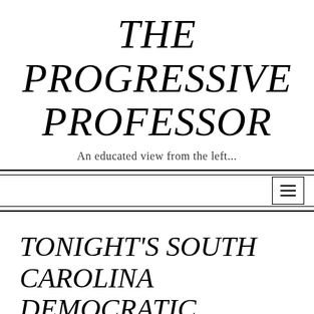THE PROGRESSIVE PROFESSOR
An educated view from the left...
TONIGHT'S SOUTH CAROLINA DEMOCRATIC PRESIDENTIAL DEBATE A